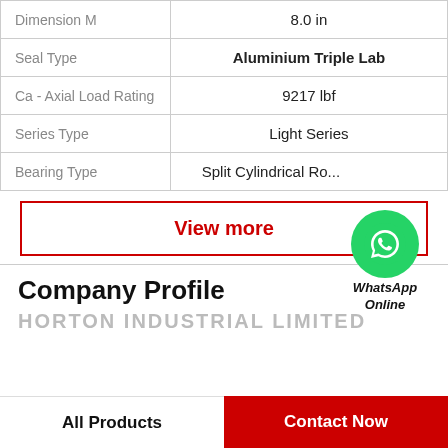| Property | Value |
| --- | --- |
| Dimension M | 8.0 in |
| Seal Type | Aluminium Triple Lab |
| Ca - Axial Load Rating | 9217 lbf |
| Series Type | Light Series |
| Bearing Type | Split Cylindrical Ro... |
View more
Company Profile
HORTON INDUSTRIAL LIMITED
All Products   Contact Now